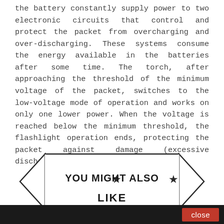the battery constantly supply power to two electronic circuits that control and protect the packet from overcharging and over-discharging. These systems consume the energy available in the batteries after some time. The torch, after approaching the threshold of the minimum voltage of the packet, switches to the low-voltage mode of operation and works on only one lower power. When the voltage is reached below the minimum threshold, the flashlight operation ends, protecting the packet against damage (excessive discharge).
[Figure (infographic): Decorative banner ribbon shape with stars and text 'YOU MIGHT ALSO LIKE']
close